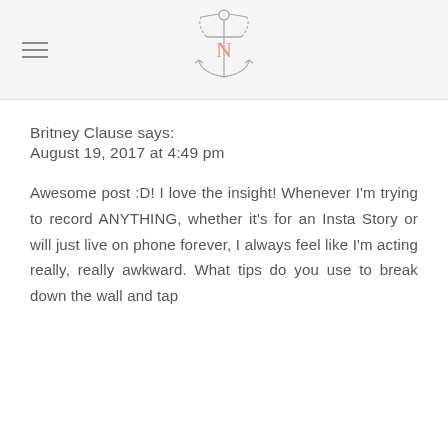[Figure (logo): Anchor logo with the letter N in salmon/coral color in the center, surrounded by an anchor outline, with a decorative chain/arc at the top. Navigation blog logo.]
Britney Clause says:
August 19, 2017 at 4:49 pm
Awesome post :D! I love the insight! Whenever I'm trying to record ANYTHING, whether it's for an Insta Story or will just live on phone forever, I always feel like I'm acting really, really awkward. What tips do you use to break down the wall and tap into that charisma?